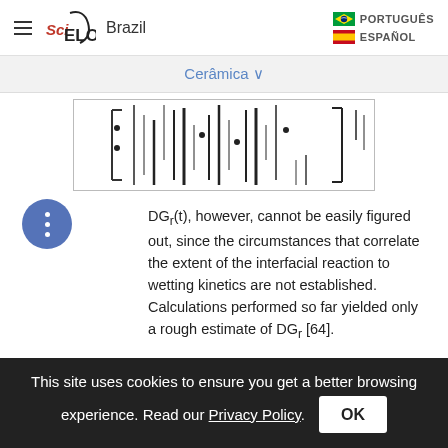SciELO Brazil — PORTUGUÊS / ESPAÑOL
Cerâmica ∨
[Figure (other): Partial spectral/waveform chart image, cropped, showing vertical peaks and troughs on a white background inside a bordered box.]
DGr(t), however, cannot be easily figured out, since the circumstances that correlate the extent of the interfacial reaction to wetting kinetics are not established. Calculations performed so far yielded only a rough estimate of DGr [64].
This site uses cookies to ensure you get a better browsing experience. Read our Privacy Policy.